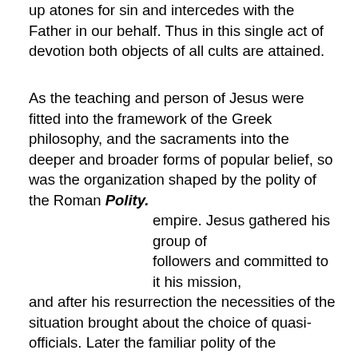up atones for sin and intercedes with the Father in our behalf. Thus in this single act of devotion both objects of all cults are attained.
As the teaching and person of Jesus were fitted into the framework of the Greek philosophy, and the sacraments into the deeper and broader forms of popular belief, so was the organization shaped by the polity of the Roman Polity. empire. Jesus gathered his group of followers and committed to it his mission, and after his resurrection the necessities of the situation brought about the choice of quasi-officials. Later the familiar polity of the synagogue was loosely followed. A completer organization was retarded by two factors, the presence of the apostles and the inspiration of the prophets. But when the apostles died and the early enthusiasm disappeared, a stricter order arose. Practical difficulties called for the enforcement of discipline, and